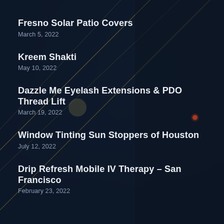Fresno Solar Patio Covers
March 5, 2022
Kreem Shakti
May 10, 2022
Dazzle Me Eyelash Extensions & PDO Thread Lift
March 19, 2022
Window Tinting Sun Stoppers of Houston
July 12, 2022
Drip Refresh Mobile IV Therapy – San Francisco
February 23, 2022